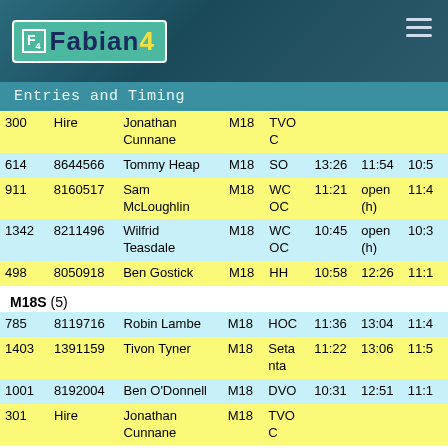Fabian4 Entries and Timing
| # | SICard | Name | Class | Club | Col6 | Col7 | Col8 |
| --- | --- | --- | --- | --- | --- | --- | --- |
| 300 | Hire | Jonathan Cunnane | M18 | TVOC |  |  |  |
| 614 | 8644566 | Tommy Heap | M18 | SO | 13:26 | 11:54 | 10:5 |
| 911 | 8160517 | Sam McLoughlin | M18 | WCOC | 11:21 | open (h) | 11:4 |
| 1342 | 8211496 | Wilfrid Teasdale | M18 | WCOC | 10:45 | open (h) | 10:3 |
| 498 | 8050918 | Ben Gostick | M18 | HH | 10:58 | 12:26 | 11:1 |
M18S (5)
| # | SICard | Name | Class | Club | Col6 | Col7 | Col8 |
| --- | --- | --- | --- | --- | --- | --- | --- |
| 785 | 8119716 | Robin Lambe | M18 | HOC | 11:36 | 13:04 | 11:4 |
| 1403 | 1391159 | Tivon Tyner | M18 | Setanta | 11:22 | 13:06 | 11:5 |
| 1001 | 8192004 | Ben O'Donnell | M18 | DVO | 10:31 | 12:51 | 11:1 |
| 301 | Hire | Jonathan Cunnane | M18 | TVOC |  |  |  |